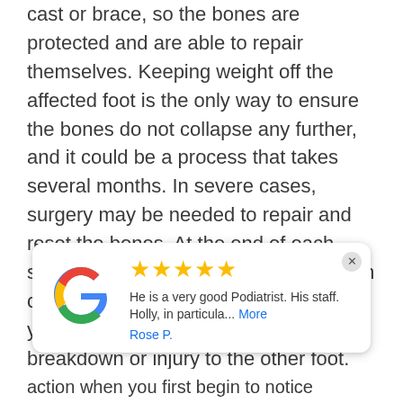cast or brace, so the bones are protected and are able to repair themselves. Keeping weight off the affected foot is the only way to ensure the bones do not collapse any further, and it could be a process that takes several months. In severe cases, surgery may be needed to repair and reset the bones. At the end of each scenario, we suggest the use of custom orthotics or special shoes to support your feet and prevent a second breakdown or injury to the other foot.
[Figure (other): Google review card showing 5 gold stars, review text 'He is a very good Podiatrist. His staff. Holly, in particula... More', reviewer name 'Rose P.', with Google logo on the left and a close button on the top right.]
action when you first begin to notice